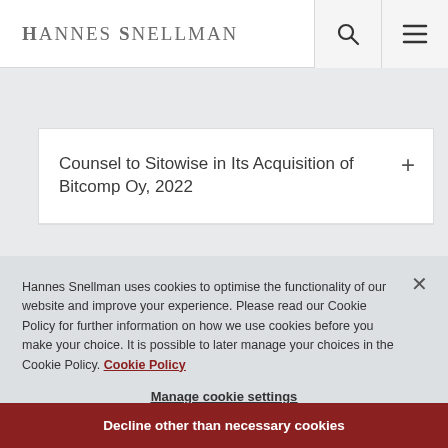Hannes Snellman
Counsel to Sitowise in Its Acquisition of Bitcomp Oy, 2022
Hannes Snellman uses cookies to optimise the functionality of our website and improve your experience. Please read our Cookie Policy for further information on how we use cookies before you make your choice. It is possible to later manage your choices in the Cookie Policy. Cookie Policy
Manage cookie settings
Decline other than necessary cookies